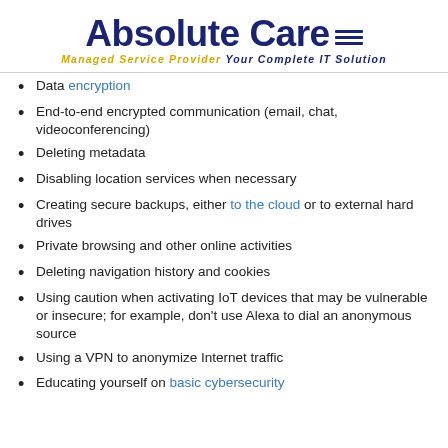Absolute Care — Managed Service Provider Your Complete IT Solution
Data encryption
End-to-end encrypted communication (email, chat, videoconferencing)
Deleting metadata
Disabling location services when necessary
Creating secure backups, either to the cloud or to external hard drives
Private browsing and other online activities
Deleting navigation history and cookies
Using caution when activating IoT devices that may be vulnerable or insecure; for example, don't use Alexa to dial an anonymous source
Using a VPN to anonymize Internet traffic
Educating yourself on basic cybersecurity